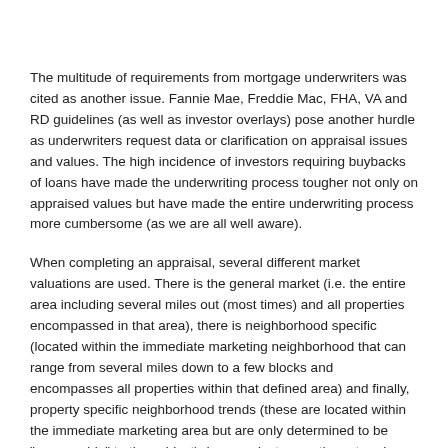The multitude of requirements from mortgage underwriters was cited as another issue. Fannie Mae, Freddie Mac, FHA, VA and RD guidelines (as well as investor overlays) pose another hurdle as underwriters request data or clarification on appraisal issues and values. The high incidence of investors requiring buybacks of loans have made the underwriting process tougher not only on appraised values but have made the entire underwriting process more cumbersome (as we are all well aware).
When completing an appraisal, several different market valuations are used. There is the general market (i.e. the entire area including several miles out (most times) and all properties encompassed in that area), there is neighborhood specific (located within the immediate marketing neighborhood that can range from several miles down to a few blocks and encompasses all properties within that defined area) and finally, property specific neighborhood trends (these are located within the immediate marketing area but are only determined to be "comparable" to the subject). In many instances these trends are conflicting. There may be an overall increase in the general market but a decrease in